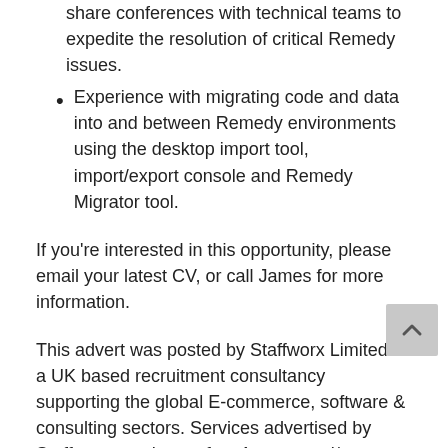Experience hosting WebEx, Lync, Telepresence screen share conferences with technical teams to expedite the resolution of critical Remedy issues.
Experience with migrating code and data into and between Remedy environments using the desktop import tool, import/export console and Remedy Migrator tool.
If you’re interested in this opportunity, please email your latest CV, or call James for more information.
This advert was posted by Staffworx Limited – a UK based recruitment consultancy supporting the global E-commerce, software & consulting sectors. Services advertised by Staffworx are those of an Agency and/or an Employment Business.
Staffworx operate a referral scheme of £500 or new iPad for each successfully referred candidate, if you know of someone suitable please forward for